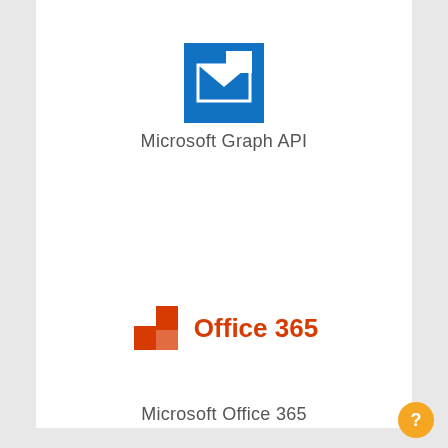[Figure (logo): Microsoft Graph API logo — blue square with white envelope/mail icon]
Microsoft Graph API
[Figure (logo): Microsoft Office 365 logo — orange/red four-quadrant window icon with 'Office 365' text in orange]
Microsoft Office 365